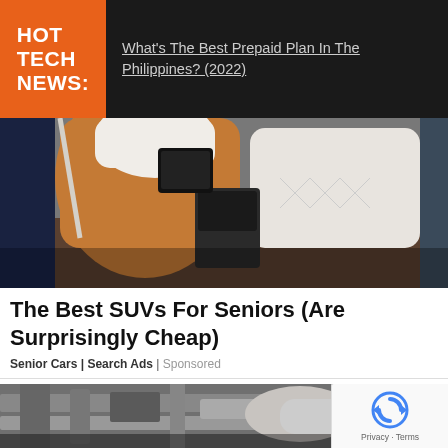HOT TECH NEWS:
What's The Best Prepaid Plan In The Philippines? (2022)
[Figure (photo): Luxury SUV interior showing white and tan leather seats with rear entertainment system]
The Best SUVs For Seniors (Are Surprisingly Cheap)
Senior Cars | Search Ads | Sponsored
[Figure (photo): Close-up of car engine or mechanical parts in greyscale]